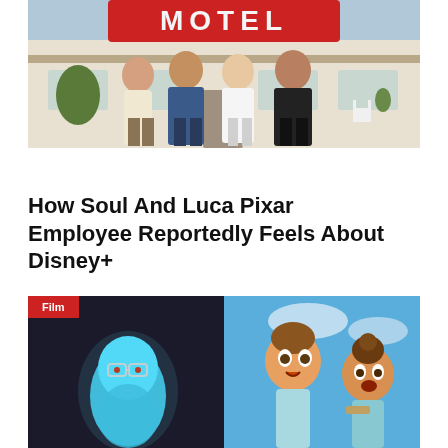[Figure (photo): Four people standing in front of a motel with a sign reading MOTEL. A woman in patterned pants, a man in a blue suit, a woman in a white dress, and a man in a black outfit.]
How Soul And Luca Pixar Employee Reportedly Feels About Disney+
[Figure (photo): Split image showing two Pixar animated movie characters: on the left, the blue soul character from Soul wearing glasses; on the right, two characters from Luca against a blue sky. A red Film badge overlays the top left.]